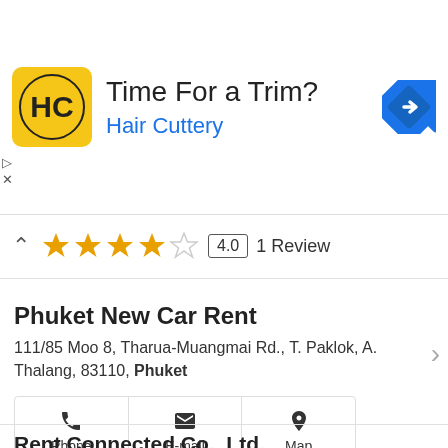[Figure (infographic): Hair Cuttery advertisement banner with yellow HC logo, text 'Time For a Trim?' and 'Hair Cuttery' in blue, blue diamond navigation icon on right, skip ad controls on left]
4.0  1 Review (with 4 orange stars, 1 empty star, up chevron)
Phuket New Car Rent
111/85 Moo 8, Tharua-Muangmai Rd., T. Paklok, A. Thalang, 83110, Phuket
Phone  E-mail  Map
Rent Connected Co., Ltd.
32/240 townplus x prachachuen 58/20 Samakkee Rd, Nonthanburi
Rentconnected.com is an easy rental car booking service platform in Thailand and has high credibility in reviews